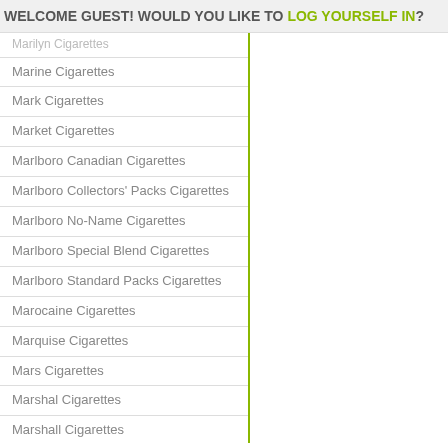WELCOME GUEST! WOULD YOU LIKE TO LOG YOURSELF IN?
Marilyn Cigarettes
Marine Cigarettes
Mark Cigarettes
Market Cigarettes
Marlboro Canadian Cigarettes
Marlboro Collectors' Packs Cigarettes
Marlboro No-Name Cigarettes
Marlboro Special Blend Cigarettes
Marlboro Standard Packs Cigarettes
Marocaine Cigarettes
Marquise Cigarettes
Mars Cigarettes
Marshal Cigarettes
Marshall Cigarettes
Marvel Cigarettes